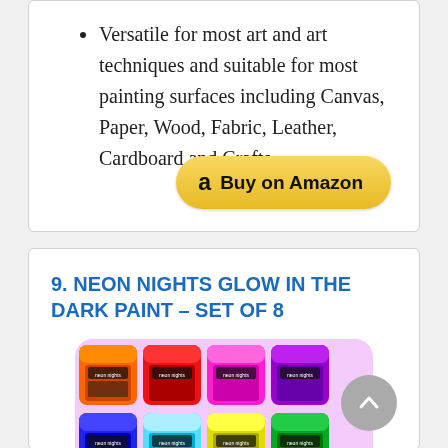Versatile for most art and art techniques and suitable for most painting surfaces including Canvas, Paper, Wood, Fabric, Leather, Cardboard and Crafts.
[Figure (other): Buy on Amazon button with Amazon logo]
9. NEON NIGHTS GLOW IN THE DARK PAINT – SET OF 8
[Figure (photo): Eight neon glow-in-the-dark paint jars in two rows of four: top row has orange, red, pink/magenta, and purple jars; bottom row has blue, light blue/cyan, yellow, and green jars. Jars are labeled 'neon nights' and glow with bright neon colors.]